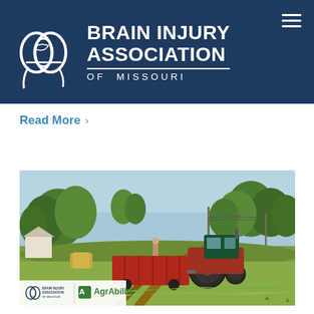[Figure (logo): Brain Injury Association of Missouri logo and organization name on dark navy blue header background with hamburger menu icon]
Read More ›
[Figure (photo): Outdoor farm scene showing a red tractor with hay baler equipment on a grassy field, with trees in the background and a person near the equipment. Brain Injury Association of Missouri and AgrAbility logos overlaid in bottom-left corner.]